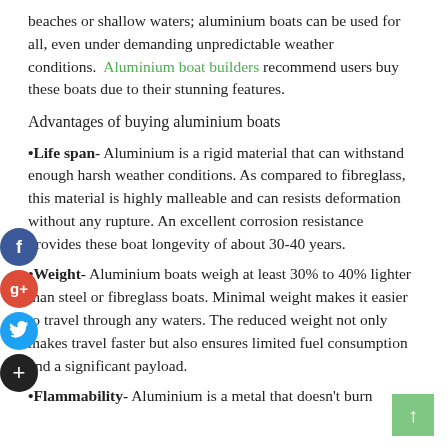beaches or shallow waters; aluminium boats can be used for all, even under demanding unpredictable weather conditions. Aluminium boat builders recommend users buy these boats due to their stunning features.
Advantages of buying aluminium boats
•Life span- Aluminium is a rigid material that can withstand enough harsh weather conditions. As compared to fibreglass, this material is highly malleable and can resists deformation without any rupture. An excellent corrosion resistance provides these boat longevity of about 30-40 years.
•Weight- Aluminium boats weigh at least 30% to 40% lighter than steel or fibreglass boats. Minimal weight makes it easier to travel through any waters. The reduced weight not only makes travel faster but also ensures limited fuel consumption and a significant payload.
•Flammability- Aluminium is a metal that doesn't burn